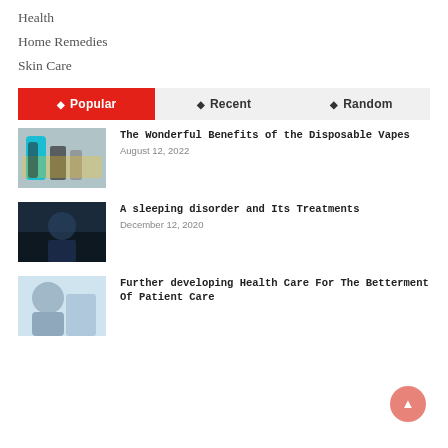Health
Home Remedies
Skin Care
Popular | Recent | Random
The Wonderful Benefits of the Disposable Vapes
August 12, 2022
A sleeping disorder and Its Treatments
December 12, 2020
Further developing Health Care For The Betterment Of Patient Care